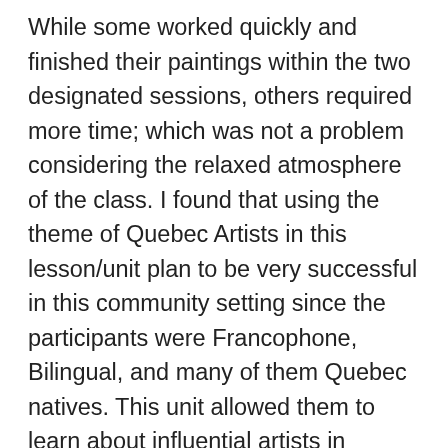While some worked quickly and finished their paintings within the two designated sessions, others required more time; which was not a problem considering the relaxed atmosphere of the class. I found that using the theme of Quebec Artists in this lesson/unit plan to be very successful in this community setting since the participants were Francophone, Bilingual, and many of them Quebec natives. This unit allowed them to learn about influential artists in Quebec and how their art has contributed to Quebec's significance within twentieth century art. They found the historical aspect interesting and relatable because they were familiar with Quebec's political/social events that took place in the 20th century.